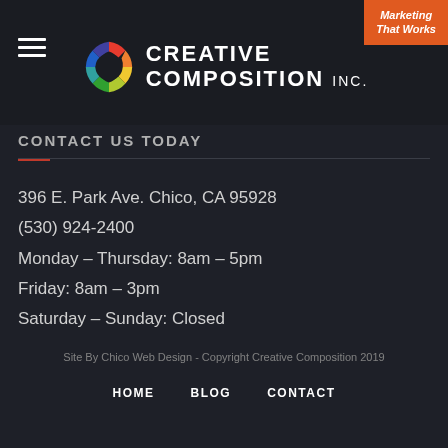[Figure (logo): Creative Composition Inc. logo with colorful segmented circle and text, plus orange Marketing That Works badge]
CONTACT US TODAY
396 E. Park Ave. Chico, CA 95928
(530) 924-2400
Monday – Thursday: 8am – 5pm
Friday: 8am – 3pm
Saturday – Sunday: Closed
Site By Chico Web Design - Copyright Creative Composition 2019
HOME   BLOG   CONTACT